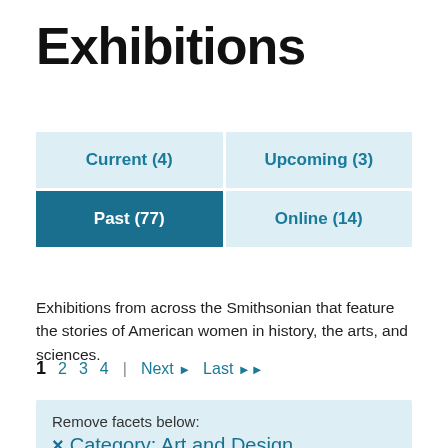Exhibitions
| Current (4) | Upcoming (3) |
| --- | --- |
| Past (77) | Online (14) |
Exhibitions from across the Smithsonian that feature the stories of American women in history, the arts, and sciences.
1   2   3   4  |  Next ▶   Last ▶▶
Remove facets below:
× Category: Art and Design